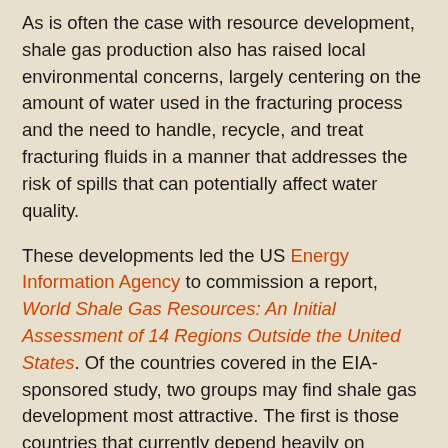As is often the case with resource development, shale gas production also has raised local environmental concerns, largely centering on the amount of water used in the fracturing process and the need to handle, recycle, and treat fracturing fluids in a manner that addresses the risk of spills that can potentially affect water quality.
These developments led the US Energy Information Agency to commission a report, World Shale Gas Resources: An Initial Assessment of 14 Regions Outside the United States. Of the countries covered in the EIA-sponsored study, two groups may find shale gas development most attractive. The first is those countries that currently depend heavily on natural gas imports but that also have significant shale gas resources. These include France, Poland, Turkey, Ukraine, South Africa, Morocco, and Chile. The second group is those countries that already produce substantial amounts of natural gas and also have large shale resources. In addition to the United States, this group includes Canada, Mexico, China, Australia, Libya, Algeria, Argentina, and Brazil.
So .... all indications are that interest in New Brunswick